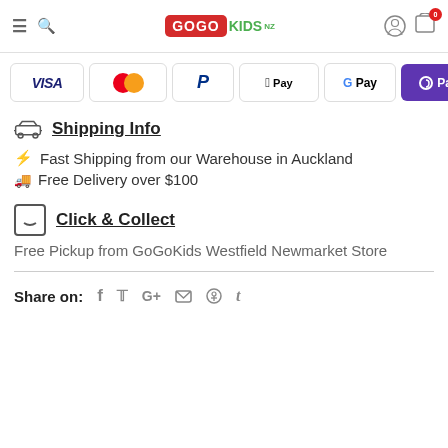GoGoKids NZ - navigation header with logo, search, user and cart icons
[Figure (other): Payment method logos: VISA, Mastercard, PayPal, Apple Pay, G Pay, O Pay]
Shipping Info
Fast Shipping from our Warehouse in Auckland
Free Delivery over $100
Click & Collect
Free Pickup from GoGoKids Westfield Newmarket Store
Share on: (Facebook, Twitter, Google+, Email, Pinterest, Tumblr icons)